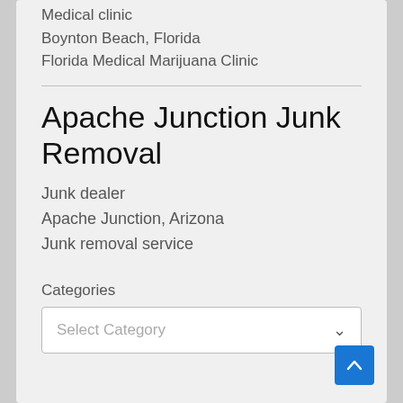Medical clinic
Boynton Beach, Florida
Florida Medical Marijuana Clinic
Apache Junction Junk Removal
Junk dealer
Apache Junction, Arizona
Junk removal service
Categories
Select Category